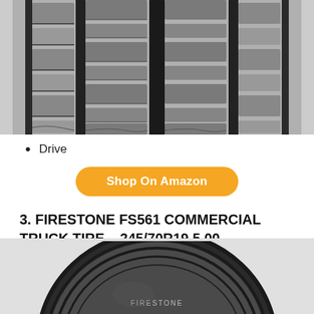[Figure (photo): Close-up photo of a truck tire tread with deep grooves and block pattern, shown from above/side angle. Black and grey tones.]
Drive
Shop On Amazon
3. FIRESTONE FS561 COMMERCIAL TRUCK TIRE – 245/70R19.5 00
[Figure (photo): Photo of a Firestone commercial truck tire, showing the sidewall and tread with ribbed grooves, on a white background.]